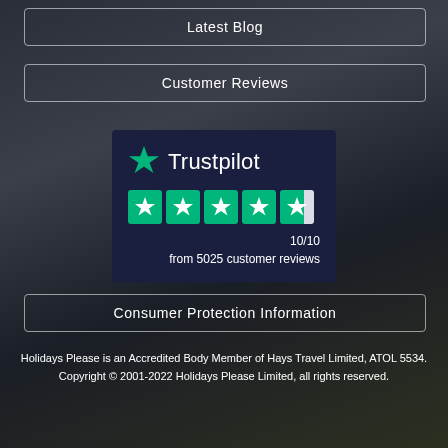Latest Blog
Customer Reviews
[Figure (logo): Trustpilot logo with green star, five green star rating boxes, 10/10 rating from 5025 customer reviews]
Consumer Protection Information
Holidays Please is an Accredited Body Member of Hays Travel Limited, ATOL 5534. Copyright © 2001-2022 Holidays Please Limited, all rights reserved.